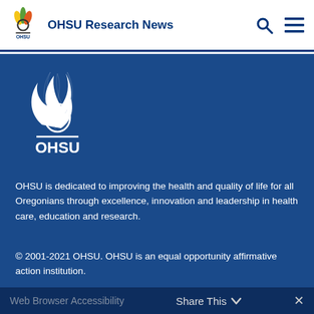OHSU Research News
[Figure (logo): OHSU white flame logo with OHSU text on blue background]
OHSU is dedicated to improving the health and quality of life for all Oregonians through excellence, innovation and leadership in health care, education and research.
© 2001-2021 OHSU. OHSU is an equal opportunity affirmative action institution.
Notice of Privacy Practices
Web Browser Accessibility
Share This ∨  ✕